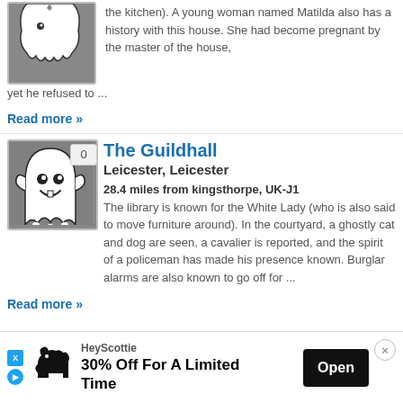[Figure (illustration): Ghost cartoon illustration on grey background, partial top view]
the kitchen). A young woman named Matilda also has a history with this house. She had become pregnant by the master of the house, yet he refused to ...
Read more »
[Figure (illustration): Ghost cartoon illustration - white friendly ghost on grey background with count badge showing 0]
The Guildhall
Leicester, Leicester
28.4 miles from kingsthorpe, UK-J1
The library is known for the White Lady (who is also said to move furniture around). In the courtyard, a ghostly cat and dog are seen, a cavalier is reported, and the spirit of a policeman has made his presence known. Burglar alarms are also known to go off for ...
Read more »
[Figure (illustration): Ghost/haunted illustration partial, grey background]
The Holt Hotel
[Figure (other): HeyScottie advertisement banner: 30% Off For A Limited Time, with Open button]